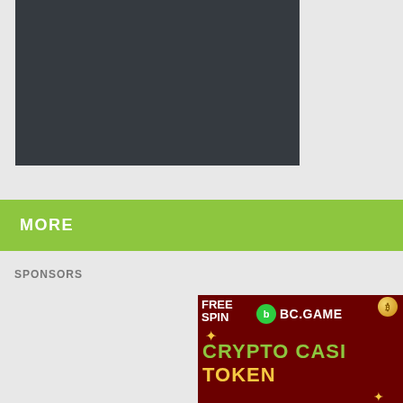[Figure (other): Dark gray/charcoal colored rectangle placeholder box (video or image placeholder)]
MORE
SPONSORS
[Figure (illustration): BC.GAME crypto casino advertisement banner showing FREE SPIN text, BC.GAME logo with green B icon, and CRYPTO CASINO TOKEN text in green and yellow on dark red background]